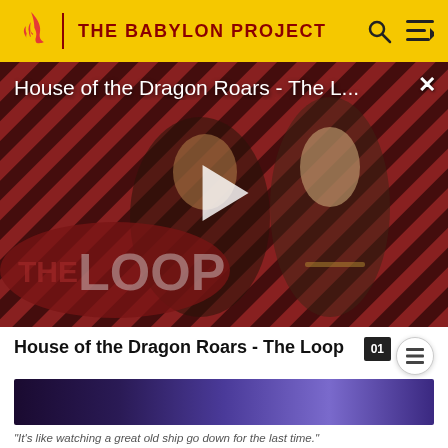THE BABYLON PROJECT
[Figure (screenshot): Video thumbnail for 'House of the Dragon Roars - The L...' showing two characters from House of the Dragon against a red diagonal striped background with 'THE LOOP' branding and a play button overlay]
House of the Dragon Roars - The Loop
[Figure (screenshot): Dark blue/purple thumbnail strip showing a scene]
"It's like watching a great old ship go down for the last time."
Major Krantz also introduces Sinclair to an alien named